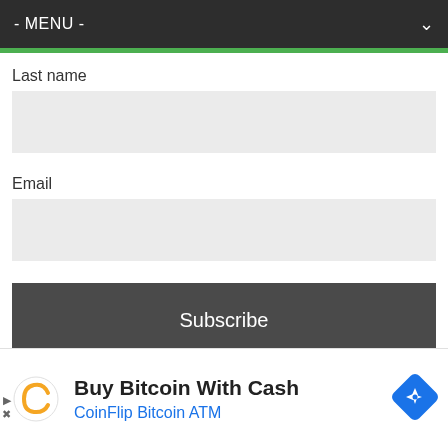- MENU -
Last name
Email
Subscribe
Shop Itunes
[Figure (screenshot): Buy Bitcoin With Cash - CoinFlip Bitcoin ATM advertisement banner with logo and map pin icon]